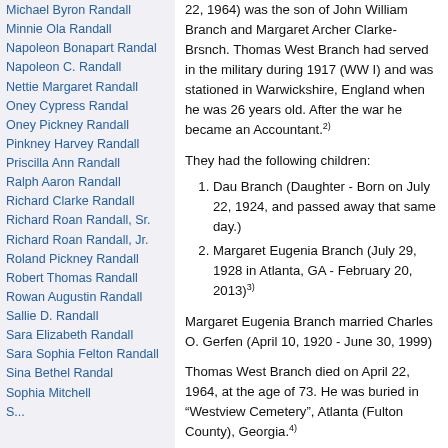Michael Byron Randall
Minnie Ola Randall
Napoleon Bonapart Randal
Napoleon C. Randall
Nettie Margaret Randall
Oney Cypress Randal
Oney Pickney Randall
Pinkney Harvey Randall
Priscilla Ann Randall
Ralph Aaron Randall
Richard Clarke Randall
Richard Roan Randall, Sr.
Richard Roan Randall, Jr.
Roland Pickney Randall
Robert Thomas Randall
Rowan Augustin Randall
Sallie D. Randall
Sara Elizabeth Randall
Sara Sophia Felton Randall
Sina Bethel Randal
Sophia Mitchell
22, 1964) was the son of John William Branch and Margaret Archer Clarke-Brsnch. Thomas West Branch had served in the military during 1917 (WW I) and was stationed in Warwickshire, England when he was 26 years old. After the war he became an Accountant.2)
They had the following children:
1. Dau Branch (Daughter - Born on July 22, 1924, and passed away that same day.)
2. Margaret Eugenia Branch (July 29, 1928 in Atlanta, GA - February 20, 2013)3)
Margaret Eugenia Branch married Charles O. Gerfen (April 10, 1920 - June 30, 1999)
Thomas West Branch died on April 22, 1964, at the age of 73. He was buried in “Westview Cemetery”, Atlanta (Fulton County), Georgia.4)